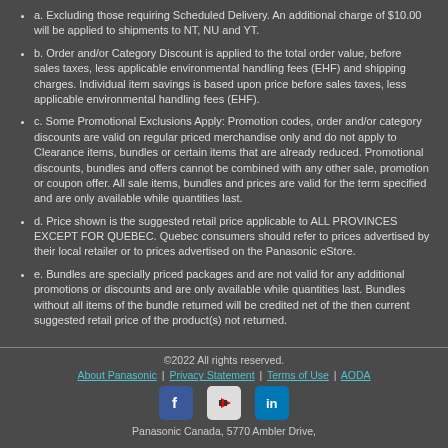a. Excluding those requiring Scheduled Delivery. An additional charge of $10.00 will be applied to shipments to NT, NU and YT.
b. Order and/or Category Discount is applied to the total order value, before sales taxes, less applicable environmental handling fees (EHF) and shipping charges. Individual item savings is based upon price before sales taxes, less applicable environmental handling fees (EHF).
c. Some Promotional Exclusions Apply: Promotion codes, order and/or category discounts are valid on regular priced merchandise only and do not apply to Clearance items, bundles or certain items that are already reduced. Promotional discounts, bundles and offers cannot be combined with any other sale, promotion or coupon offer. All sale items, bundles and prices are valid for the term specified and are only available while quantities last.
d. Price shown is the suggested retail price applicable to ALL PROVINCES EXCEPT FOR QUEBEC. Quebec consumers should refer to prices advertised by their local retailer or to prices advertised on the Panasonic eStore.
e. Bundles are specially priced packages and are not valid for any additional promotions or discounts and are only available while quantities last. Bundles without all items of the bundle returned will be credited net of the then current suggested retail price of the product(s) not returned.
©2022 All rights reserved. About Panasonic | Privacy Statement | Terms of Use | AODA Panasonic Canada, 5770 Ambler Drive,